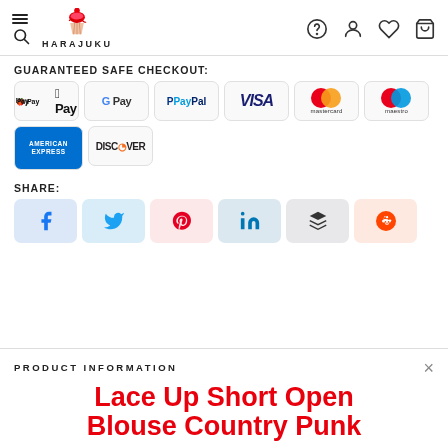HARAJUKU
GUARANTEED SAFE CHECKOUT:
[Figure (other): Payment method logos: Apple Pay, Google Pay, PayPal, VISA, Mastercard, Maestro, American Express, Discover]
SHARE:
[Figure (other): Social share buttons: Facebook, Twitter, Pinterest, LinkedIn, Buffer, Reddit]
PRODUCT INFORMATION
Lace Up Short Open Blouse Country Punk